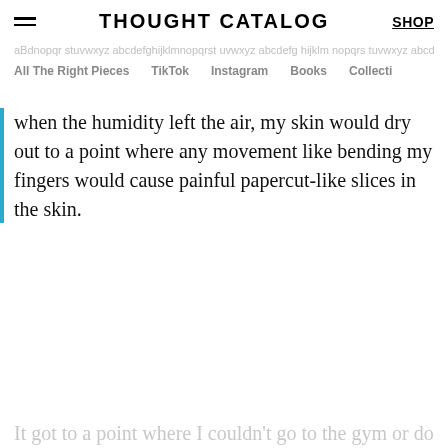THOUGHT CATALOG | SHOP
All The Right Pieces  TikTok  Instagram  Books  Collecti
when the humidity left the air, my skin would dry out to a point where any movement like bending my fingers would cause painful papercut-like slices in the skin.
It got to a point where I couldn't go to the gym or do